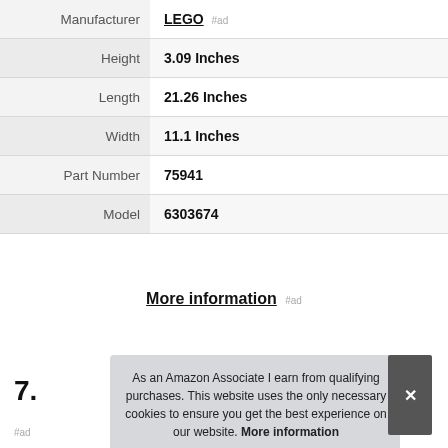| Attribute | Value |
| --- | --- |
| Manufacturer | LEGO #ad |
| Height | 3.09 Inches |
| Length | 21.26 Inches |
| Width | 11.1 Inches |
| Part Number | 75941 |
| Model | 6303674 |
More information #ad
7.
As an Amazon Associate I earn from qualifying purchases. This website uses the only necessary cookies to ensure you get the best experience on our website. More information
#ad